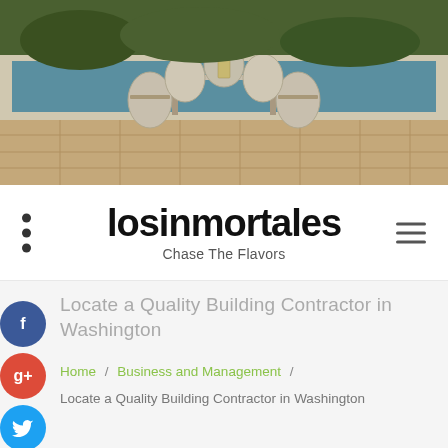[Figure (photo): Outdoor patio scene with wicker furniture set (table and chairs) arranged around a pool on stone tile flooring]
losinmortales
Chase The Flavors
Locate a Quality Building Contractor in Washington
Home / Business and Management / Locate a Quality Building Contractor in Washington